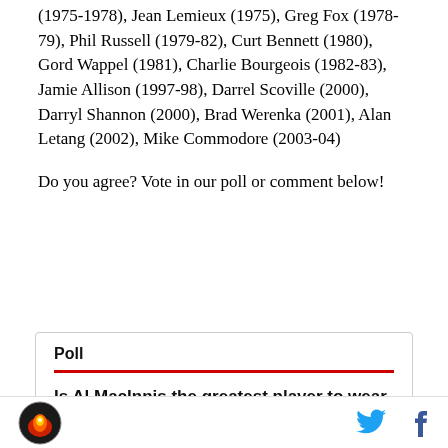(1975-1978), Jean Lemieux (1975), Greg Fox (1978-79), Phil Russell (1979-82), Curt Bennett (1980), Gord Wappel (1981), Charlie Bourgeois (1982-83), Jamie Allison (1997-98), Darrel Scoville (2000), Darryl Shannon (2000), Brad Werenka (2001), Alan Letang (2002), Mike Commodore (2003-04)
Do you agree? Vote in our poll or comment below!
Poll
Is Al MacInnis the greatest player to wear #2 in Flames history?
This poll is closed